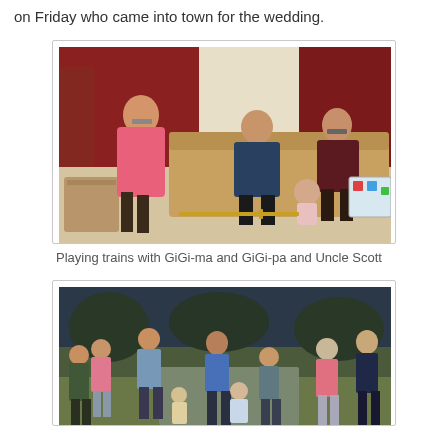on Friday who came into town for the wedding.
[Figure (photo): Indoor scene: woman in pink top playing with toy trains on the floor, two older men seated on a couch watching, and a toddler nearby. Living room setting with warm lighting.]
Playing trains with GiGi-ma and GiGi-pa and Uncle Scott
[Figure (photo): Outdoor group scene: multiple adults and children standing on a lawn in a yard, appearing to interact or play a group game, taken at dusk or in low light.]